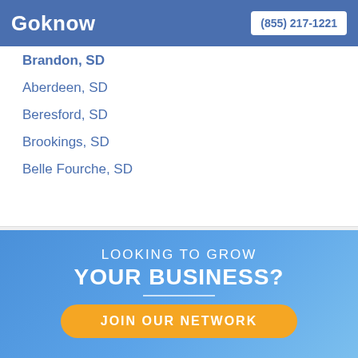Goknow | (855) 217-1221
Brandon, SD
Aberdeen, SD
Beresford, SD
Brookings, SD
Belle Fourche, SD
[Figure (infographic): Advertisement banner with blue gradient background. Text reads 'LOOKING TO GROW YOUR BUSINESS?' with a horizontal divider line and an orange rounded button labeled 'JOIN OUR NETWORK'.]